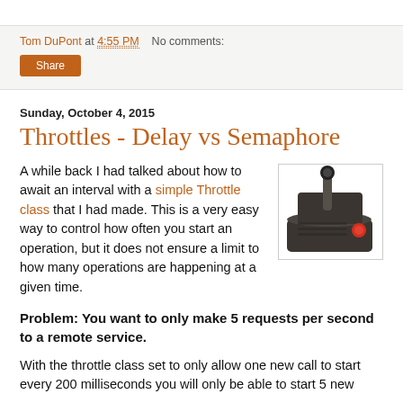Tom DuPont at 4:55 PM   No comments:
Share
Sunday, October 4, 2015
Throttles - Delay vs Semaphore
A while back I had talked about how to await an interval with a simple Throttle class that I had made. This is a very easy way to control how often you start an operation, but it does not ensure a limit to how many operations are happening at a given time.
[Figure (photo): Photo of a mechanical throttle lever device, dark metal with a red button, on a white background]
Problem: You want to only make 5 requests per second to a remote service.
With the throttle class set to only allow one new call to start every 200 milliseconds you will only be able to start 5 new